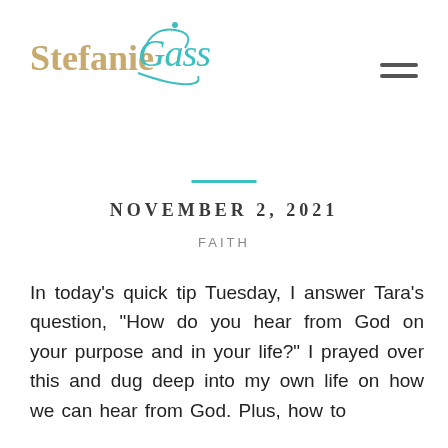[Figure (logo): Stefanie Gass logo with cursive teal 'Gass' script and gold/tan 'Stefanie' text]
NOVEMBER 2, 2021
FAITH
In today's quick tip Tuesday, I answer Tara's question, “How do you hear from God on your purpose and in your life?” I prayed over this and dug deep into my own life on how we can hear from God. Plus, how to